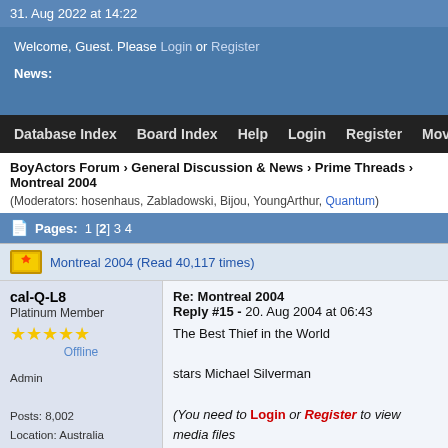31. Aug 2022 at 14:22
Welcome, Guest. Please Login or Register
News:
Database Index  Board Index  Help  Login  Register  Movies  T
BoyActors Forum › General Discussion & News › Prime Threads › Montreal 2004
(Moderators: hosenhaus, Zabladowski, Bijou, YoungArthur, Quantum)
Pages: 1 [2] 3 4
Montreal 2004 (Read 40,117 times)
cal-Q-L8
Platinum Member
★★★★★
Offline
Admin
Posts: 8,002
Location: Australia
Joined: 30. Oct 2001
Re: Montreal 2004
Reply #15 - 20. Aug 2004 at 06:43
The Best Thief in the World
stars Michael Silverman
(You need to Login or Register to view media files
The Best Thief in the World